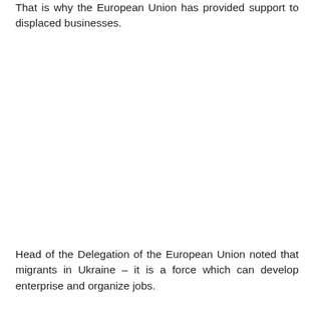That is why the European Union has provided support to displaced businesses.
Head of the Delegation of the European Union noted that migrants in Ukraine – it is a force which can develop enterprise and organize jobs.